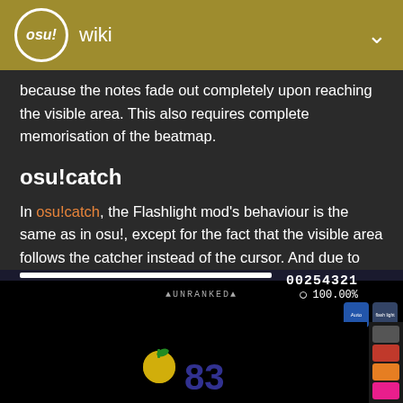osu! wiki
because the notes fade out completely upon reaching the visible area. This also requires complete memorisation of the beatmap.
osu!catch
In osu!catch, the Flashlight mod's behaviour is the same as in osu!, except for the fact that the visible area follows the catcher instead of the cursor. And due to the nature of osu!catch, the visible area is notably larger than in osu! or osu!taiko.
[Figure (screenshot): osu!catch gameplay screenshot showing Flashlight mod active with score 00254321, accuracy 100.00%, combo 83, and an apple/fruit catcher visible on a dark screen with UNRANKED label]